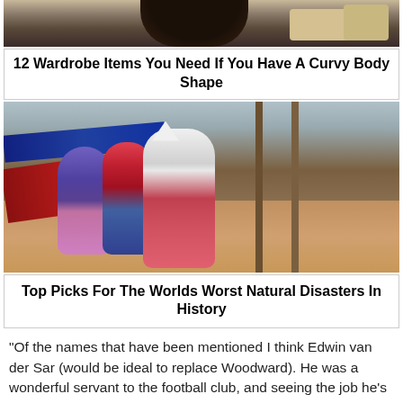[Figure (photo): Partial view of a person with dark hair and bags, top of image cropped]
12 Wardrobe Items You Need If You Have A Curvy Body Shape
[Figure (photo): People pushing a large fishing boat on a sandy beach during a storm or natural disaster]
Top Picks For The Worlds Worst Natural Disasters In History
“Of the names that have been mentioned I think Edwin van der Sar (would be ideal to replace Woodward). He was a wonderful servant to the football club, and seeing the job he’s done at